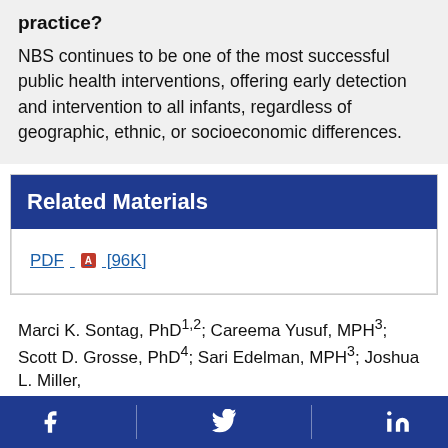practice?
NBS continues to be one of the most successful public health interventions, offering early detection and intervention to all infants, regardless of geographic, ethnic, or socioeconomic differences.
Related Materials
PDF [96K]
Marci K. Sontag, PhD1,2; Careema Yusuf, MPH3; Scott D. Grosse, PhD4; Sari Edelman, MPH3; Joshua L. Miller,
Facebook Twitter LinkedIn